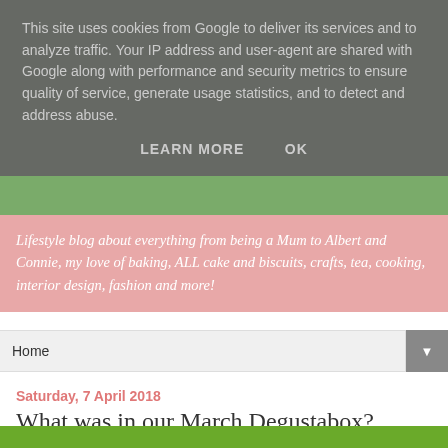This site uses cookies from Google to deliver its services and to analyze traffic. Your IP address and user-agent are shared with Google along with performance and security metrics to ensure quality of service, generate usage statistics, and to detect and address abuse.
LEARN MORE    OK
Lifestyle blog about everything from being a Mum to Albert and Connie, my love of baking, ALL cake and biscuits, crafts, tea, cooking, interior design, fashion and more!
Home
Saturday, 7 April 2018
What was in our March Degustabox?